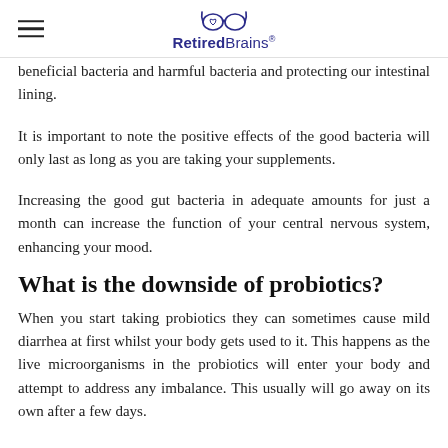RetiredBrains®
beneficial bacteria and harmful bacteria and protecting our intestinal lining.
It is important to note the positive effects of the good bacteria will only last as long as you are taking your supplements.
Increasing the good gut bacteria in adequate amounts for just a month can increase the function of your central nervous system, enhancing your mood.
What is the downside of probiotics?
When you start taking probiotics they can sometimes cause mild diarrhea at first whilst your body gets used to it. This happens as the live microorganisms in the probiotics will enter your body and attempt to address any imbalance. This usually will go away on its own after a few days.